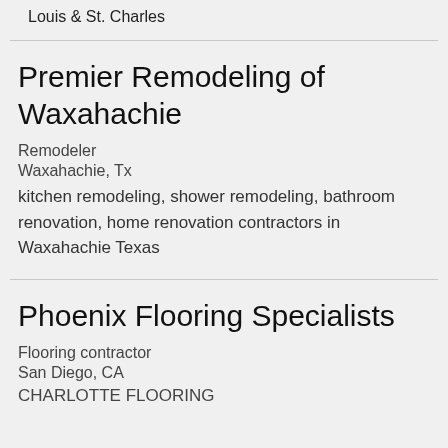Louis & St. Charles
Premier Remodeling of Waxahachie
Remodeler
Waxahachie, Tx
kitchen remodeling, shower remodeling, bathroom renovation, home renovation contractors in Waxahachie Texas
Phoenix Flooring Specialists
Flooring contractor
San Diego, CA